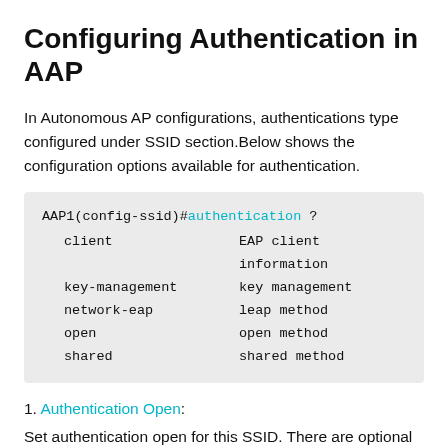Configuring Authentication in AAP
In Autonomous AP configurations, authentications type configured under SSID section.Below shows the configuration options available for authentication.
[Figure (screenshot): CLI code block showing AAP1(config-ssid)#authentication ? with options: client (EAP client information), key-management (key management), network-eap (leap method), open (open method), shared (shared method)]
Authentication Open:
Set authentication open for this SSID. There are optional